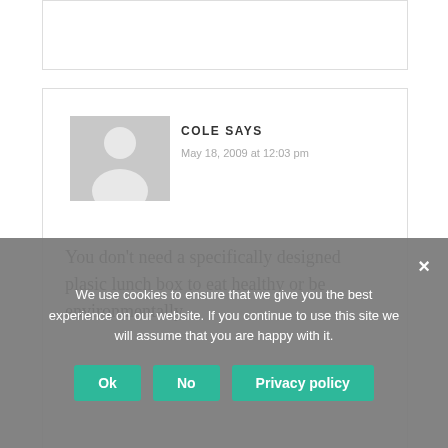[Figure (other): Partial comment box at top of page]
[Figure (photo): Default user avatar - grey silhouette of a person on grey background]
COLE SAYS
May 18, 2009 at 12:03 pm
You don't need a specifically designed plasic lunch box to eat healthy or be environmentally
We use cookies to ensure that we give you the best experience on our website. If you continue to use this site we will assume that you are happy with it.
Ok
No
Privacy policy